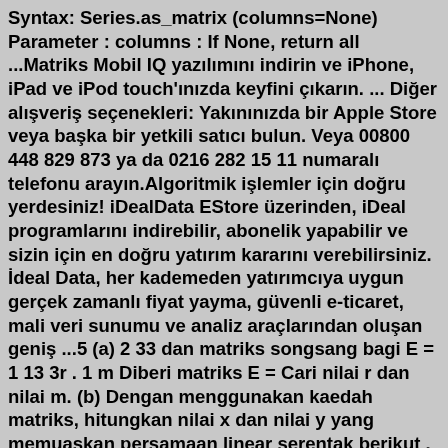Syntax: Series.as_matrix (columns=None) Parameter : columns : If None, return all ...Matriks Mobil IQ yazılımını indirin ve iPhone, iPad ve iPod touch'ınızda keyfini çıkarın. ... Diğer alışveriş seçenekleri: Yakınınızda bir Apple Store veya başka bir yetkili satıcı bulun. Veya 00800 448 829 873 ya da 0216 282 15 11 numaralı telefonu arayın.Algoritmik işlemler için doğru yerdesiniz! iDealData EStore üzerinden, iDeal programlarını indirebilir, abonelik yapabilir ve sizin için en doğru yatırım kararını verebilirsiniz. İdeal Data, her kademeden yatırımcıya uygun gerçek zamanlı fiyat yayma, güvenli e-ticaret, mali veri sunumu ve analiz araçlarından oluşan geniş ...5 (a) 2 33 dan matriks songsang bagi E = 1 13 3r . 1 m Diberi matriks E = Cari nilai r dan nilai m. (b) Dengan menggunakan kaedah matriks, hitungkan nilai x dan nilai y yang memuaskan persamaan linear serentak berikut . 2x 3y 14 x 3y 13 [6 markah] Jawapan: (a) (b) 6.VME(Matriks Verim Eğrisi), kullanılan metotlar, biçimleri ve yorumlanması, FX piyasaları için özel olarak hazırlanmış olan Matriks